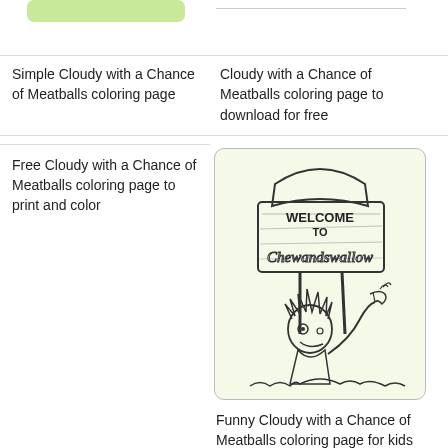[Figure (illustration): Partial view of a coloring page thumbnail with a light green rounded rectangle placeholder at top]
[Figure (illustration): Horizontal divider line above right column]
Simple Cloudy with a Chance of Meatballs coloring page
Cloudy with a Chance of Meatballs coloring page to download for free
Free Cloudy with a Chance of Meatballs coloring page to print and color
[Figure (illustration): Coloring page showing a cartoon character (Flint Lockwood) holding a 'Welcome to Chewandswallow' sign, black and white line art on light green rounded rectangle background]
Funny Cloudy with a Chance of Meatballs coloring page for kids